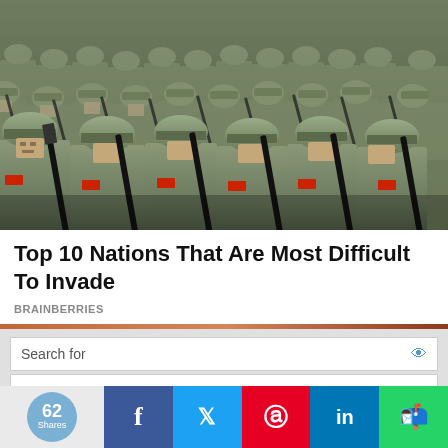[Figure (photo): Military parade — rows of soldiers in camouflage uniforms marching in tight formation, carrying rifles, wearing helmets with Chinese military insignia; taken from a low angle.]
Top 10 Nations That Are Most Difficult To Invade
BRAINBERRIES
[Figure (screenshot): Yahoo Search sponsored ad unit with 'Search for' header, two ad rows: 'BEST DENTISTS NEAR ME' and 'BEST PAIN RELIEF FOR ARTHRITIS', each with a right arrow. Footer shows 'Yahoo! Search | Sponsored'.]
62 Shares — social share bar with Facebook, Twitter, Pinterest, LinkedIn, WhatsApp buttons